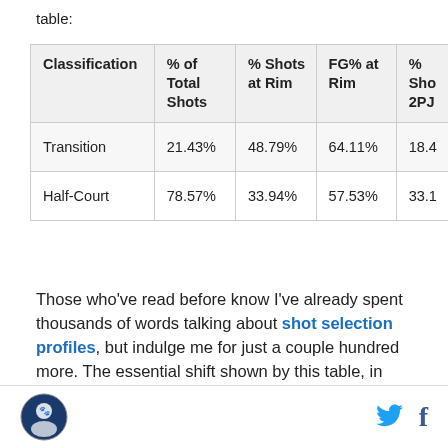table:
| Classification | % of Total Shots | % Shots at Rim | FG% at Rim | % Sho 2PJ |
| --- | --- | --- | --- | --- |
| Transition | 21.43% | 48.79% | 64.11% | 18.4 |
| Half-Court | 78.57% | 33.94% | 57.53% | 33.1 |
Those who've read before know I've already spent thousands of words talking about shot selection profiles, but indulge me for just a couple hundred more. The essential shift shown by this table, in terms
logo | twitter | facebook